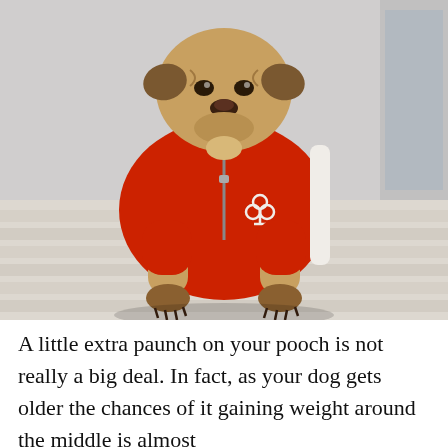[Figure (photo): A pug dog sitting on a light wood floor, wearing a red zip-up tracksuit jacket with white side stripes and a logo on the chest, resembling an Adidas-style outfit. The background shows a light interior setting.]
A little extra paunch on your pooch is not really a big deal. In fact, as your dog gets older the chances of it gaining weight around the middle is almost